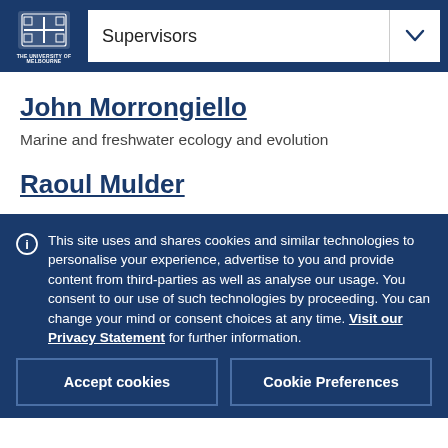Supervisors
John Morrongiello
Marine and freshwater ecology and evolution
Raoul Mulder
This site uses and shares cookies and similar technologies to personalise your experience, advertise to you and provide content from third-parties as well as analyse our usage. You consent to our use of such technologies by proceeding. You can change your mind or consent choices at any time. Visit our Privacy Statement for further information.
Accept cookies
Cookie Preferences